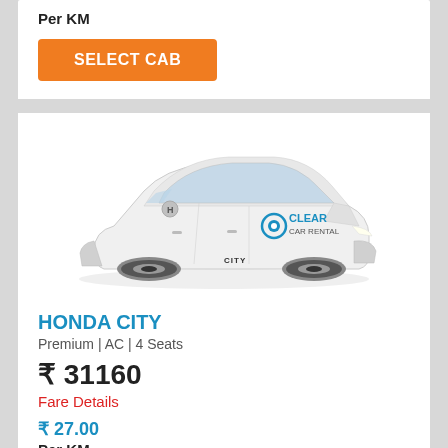Per KM
SELECT CAB
[Figure (photo): White Honda City sedan with Clear Car Rental branding on the side, shown in three-quarter front view]
HONDA CITY
Premium | AC | 4 Seats
₹ 31160
Fare Details
₹ 27.00
Per KM
SELECT CAB